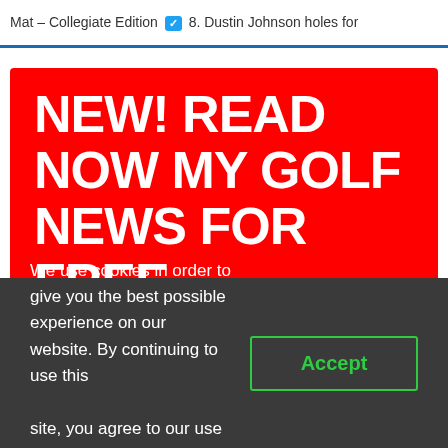Mat – Collegiate Edition [Twitter icon] 8. Dustin Johnson holes for
[Figure (other): Red promotional banner with white bold text reading: NEW! READ NOW MY GOLF NEWS FOR FREE]
In Google News, Ground News and Flipboard. They are the best news readers you can get.
We use cookies in order to give you the best possible experience on our website. By continuing to use this site, you agree to our use of cookies.   Accept